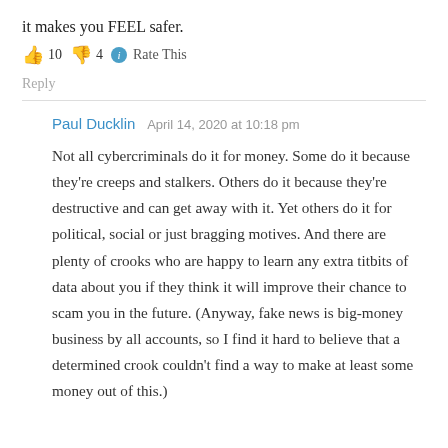it makes you FEEL safer.
👍 10 👎 4 ℹ Rate This
Reply
Paul Ducklin   April 14, 2020 at 10:18 pm
Not all cybercriminals do it for money. Some do it because they're creeps and stalkers. Others do it because they're destructive and can get away with it. Yet others do it for political, social or just bragging motives. And there are plenty of crooks who are happy to learn any extra titbits of data about you if they think it will improve their chance to scam you in the future. (Anyway, fake news is big-money business by all accounts, so I find it hard to believe that a determined crook couldn't find a way to make at least some money out of this.)